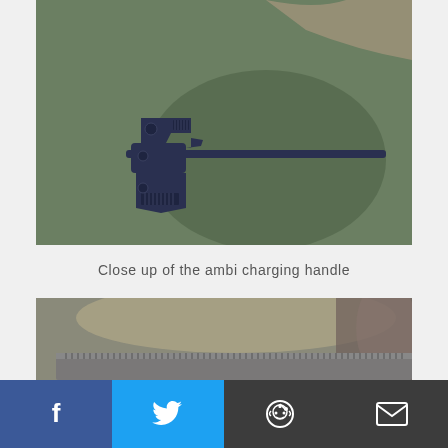[Figure (photo): Close up photograph of a dark blue/navy ambidextrous charging handle placed on an olive/green military fabric background]
Close up of the ambi charging handle
[Figure (photo): Partial photograph of a rifle with a serrated charging handle, with blurred camouflage background]
[Figure (infographic): Social media share bar with Facebook, Twitter, Reddit, and Email buttons]